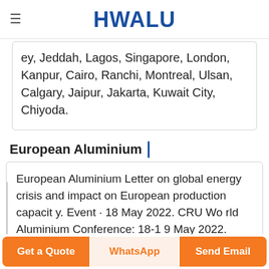HWALU
ey, Jeddah, Lagos, Singapore, London, Kanpur, Cairo, Ranchi, Montreal, Ulsan, Calgary, Jaipur, Jakarta, Kuwait City, Chiyoda.
European Aluminium
European Aluminium Letter on global energy crisis and impact on European production capacity. Event · 18 May 2022. CRU World Aluminium Conference: 18-19 May 2022. Position Paper · 24